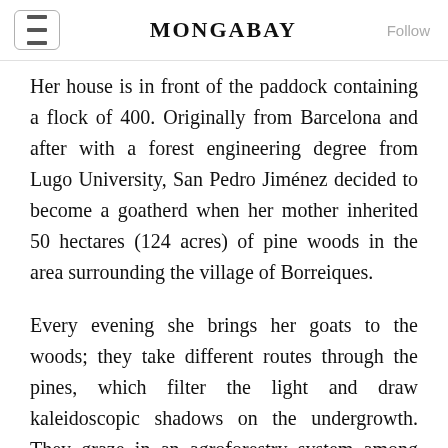MONGABAY
Her house is in front of the paddock containing a flock of 400. Originally from Barcelona and after with a forest engineering degree from Lugo University, San Pedro Jiménez decided to become a goatherd when her mother inherited 50 hectares (124 acres) of pine woods in the area surrounding the village of Borreiques.
Every evening she brings her goats to the woods; they take different routes through the pines, which filter the light and draw kaleidoscopic shadows on the undergrowth. They graze in an agroforestry system among eucalyptus